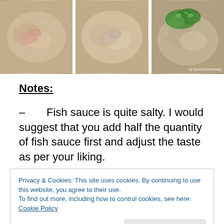[Figure (photo): Three side-by-side food photos showing stages of cooking a rice/grain dish in a pan. The third photo has green herb garnish on top. Watermark reads 'by Shobha Bhardwaj'.]
Notes:
– Fish sauce is quite salty. I would suggest that you add half the quantity of fish sauce first and adjust the taste as per your liking.
Privacy & Cookies: This site uses cookies. By continuing to use this website, you agree to their use.
To find out more, including how to control cookies, see here: Cookie Policy

Close and accept
with some finely chopped fresh coriander leaves